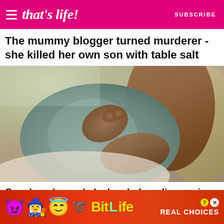that's life! SUBSCRIBE
The mummy blogger turned murderer - she killed her own son with table salt
[Figure (photo): Pregnant woman in gray tank top cradling her belly, sitting against a beige pillow]
Couple welcome baby boy before discovering they are
[Figure (infographic): BitLife advertisement banner with devil emoji, woman emoji, angel emoji, sperm emoji and text REAL CHOICES]